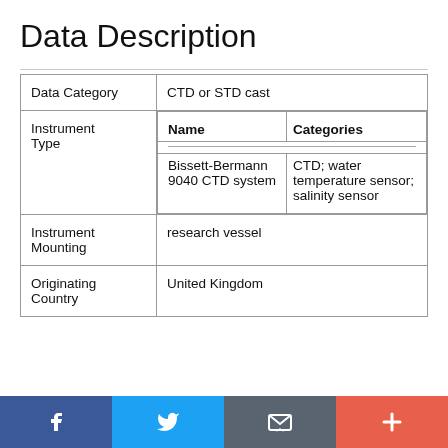Data Description
| Data Category | CTD or STD cast |
| Instrument Type | Name | Categories
Bissett-Bermann 9040 CTD system | CTD; water temperature sensor; salinity sensor |
| Instrument Mounting | research vessel |
| Originating Country | United Kingdom |